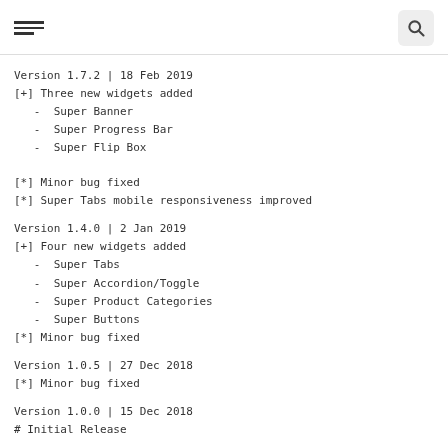[hamburger menu icon] [search icon]
Version 1.7.2 | 18 Feb 2019
[+] Three new widgets added
   -  Super Banner
   -  Super Progress Bar
   -  Super Flip Box

[*] Minor bug fixed
[*] Super Tabs mobile responsiveness improved
Version 1.4.0 | 2 Jan 2019
[+] Four new widgets added
   -  Super Tabs
   -  Super Accordion/Toggle
   -  Super Product Categories
   -  Super Buttons
[*] Minor bug fixed
Version 1.0.5 | 27 Dec 2018
[*] Minor bug fixed
Version 1.0.0 | 15 Dec 2018
# Initial Release